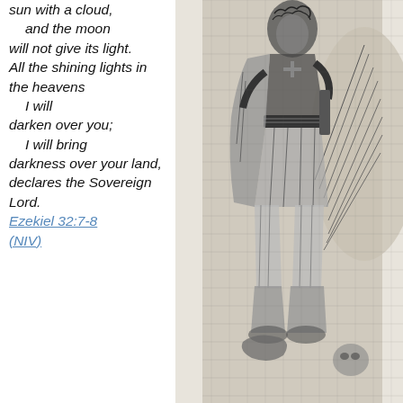sun with a cloud, and the moon will not give its light. All the shining lights in the heavens I will darken over you; I will bring darkness over your land, declares the Sovereign Lord. Ezekiel 32:7-8 (NIV)
[Figure (illustration): Black and white engraving/illustration of a robed angelic or warrior figure standing, holding a staff or sword, wearing armor and robes with large wings visible, shown in medieval or biblical style etching]